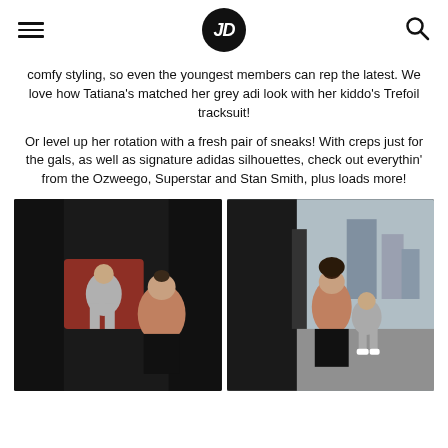JD (logo)
comfy styling, so even the youngest members can rep the latest. We love how Tatiana's matched her grey adi look with her kiddo's Trefoil tracksuit!
Or level up her rotation with a fresh pair of sneaks! With creps just for the gals, as well as signature adidas silhouettes, check out everythin' from the Ozweego, Superstar and Stan Smith, plus loads more!
[Figure (photo): Woman helping a young child in athletic/tracksuit clothing near a black vehicle door, urban rooftop setting]
[Figure (photo): Woman and young child in athletic clothing near a black vehicle door, city skyline backdrop]